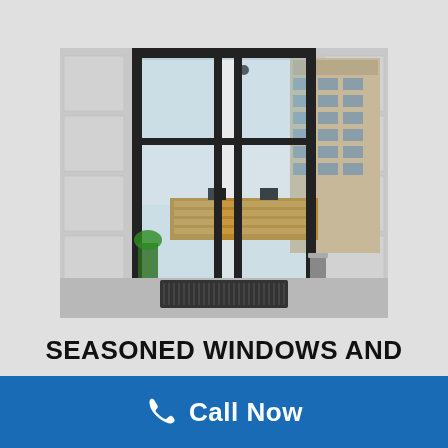[Figure (photo): Commercial building entrance with large glass automatic sliding doors and dark aluminum frames, showing a lobby interior with a wooden reception desk and two chairs, and a city building visible through side glass panels. A dark floor mat is at the entrance and a metal bin is on the right side.]
SEASONED WINDOWS AND
Call Now